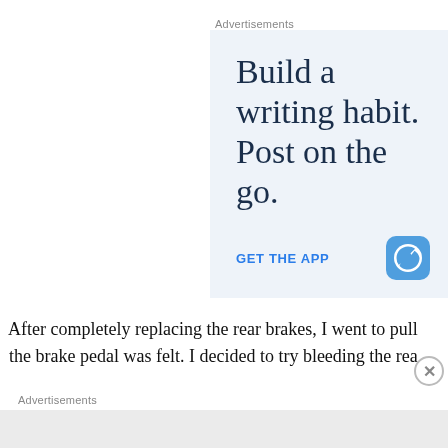Advertisements
[Figure (screenshot): WordPress app advertisement with text 'Build a writing habit. Post on the go.' and a 'GET THE APP' call-to-action button with WordPress logo icon, on a light blue background.]
After completely replacing the rear brakes, I went to pull the brake pedal was felt. I decided to try bleeding the rea
Advertisements